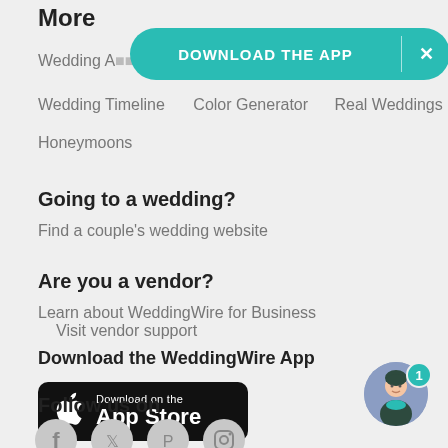More
Wedding A... ways
Wedding Timeline   Color Generator   Real Weddings
Honeymoons
[Figure (infographic): DOWNLOAD THE APP banner with X close button in teal/green rounded rectangle]
Going to a wedding?
Find a couple's wedding website
Are you a vendor?
Learn about WeddingWire for Business   Visit vendor support
Download the WeddingWire App
[Figure (logo): Download on the App Store badge - black rounded rectangle with Apple logo]
Follow us on
[Figure (illustration): Social media icons: Facebook, Twitter, Pinterest, Instagram in grey circles]
[Figure (illustration): Chat avatar with woman illustration in blue circle, teal badge with number 1]